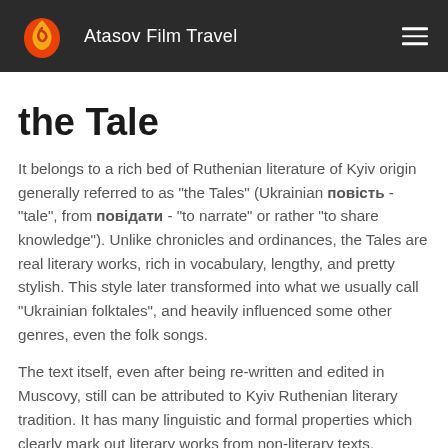Atasov Film Travel
the Tale
It belongs to a rich bed of Ruthenian literature of Kyiv origin generally referred to as "the Tales" (Ukrainian повість - "tale", from повідати - "to narrate" or rather "to share knowledge"). Unlike chronicles and ordinances, the Tales are real literary works, rich in vocabulary, lengthy, and pretty stylish. This style later transformed into what we usually call "Ukrainian folktales", and heavily influenced some other genres, even the folk songs.
The text itself, even after being re-written and edited in Muscovy, still can be attributed to Kyiv Ruthenian literary tradition. It has many linguistic and formal properties which clearly mark out literary works from non-literary texts.